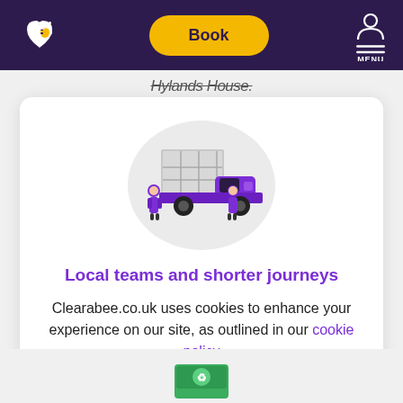Clearabee - Book / MENU navigation header
Hylands House.
[Figure (illustration): Isometric illustration of a purple delivery/rubbish removal truck with cargo loaded on the back and a worker figure standing beside it, on a light grey circular background.]
Local teams and shorter journeys
Clearabee.co.uk uses cookies to enhance your experience on our site, as outlined in our cookie policy
Got it